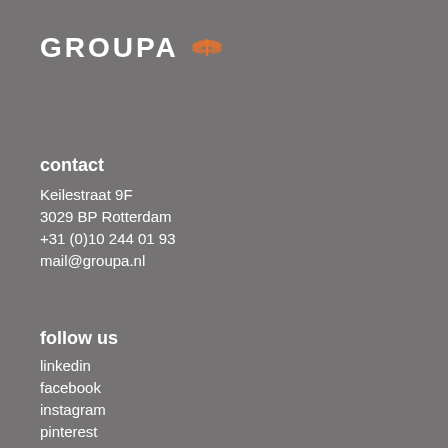GROUPA
contact
Keilestraat 9F
3029 BP Rotterdam
+31 (0)10 244 01 93
mail@groupa.nl
follow us
linkedin
facebook
instagram
pinterest
twitter
info
the group